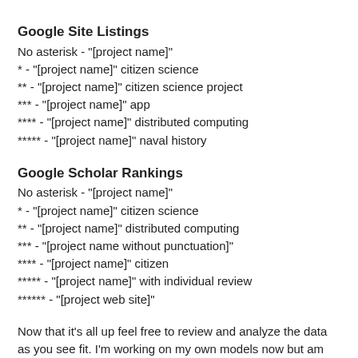Google Site Listings
No asterisk - "[project name]"
* - "[project name]" citizen science
** - "[project name]" citizen science project
*** - "[project name]" app
**** - "[project name]" distributed computing
***** - "[project name]" naval history
Google Scholar Rankings
No asterisk - "[project name]"
* - "[project name]" citizen science
** - "[project name]" distributed computing
*** - "[project name without punctuation]"
**** - "[project name]" citizen
***** - "[project name]" with individual review
****** - "[project web site]"
Now that it's all up feel free to review and analyze the data as you see fit. I'm working on my own models now but am curious what you find. Also, feel free to comment on any potentially incorrect results so make can keep the data